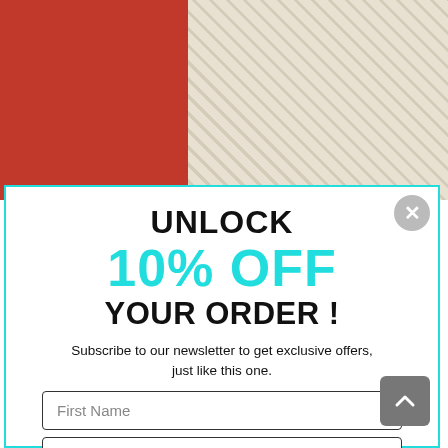[Figure (photo): Background photo showing a red garment on the left and a white woven basket bag on the right]
UNLOCK 10% OFF YOUR ORDER !
Subscribe to our newsletter to get exclusive offers, just like this one.
First Name
Email